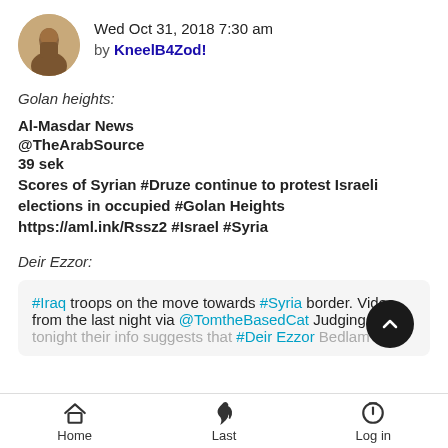Wed Oct 31, 2018 7:30 am by KneelB4Zod!
Golan heights:
Al-Masdar News
@TheArabSource
39 sek
Scores of Syrian #Druze continue to protest Israeli elections in occupied #Golan Heights https://aml.ink/Rssz2 #Israel #Syria
Deir Ezzor:
#Iraq troops on the move towards #Syria border. Video from the last night via @TomtheBasedCat Judging by tonight their info suggests that #Deir Ezzor Bedlam is for the
Home   Last   Log in